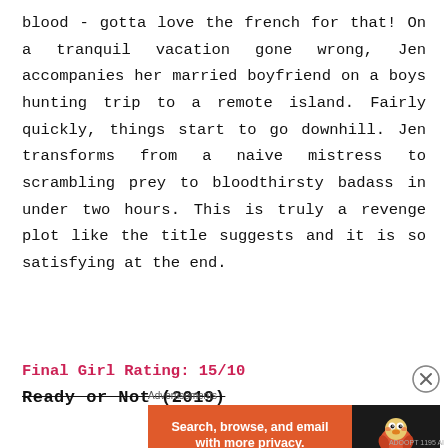blood - gotta love the french for that! On a tranquil vacation gone wrong, Jen accompanies her married boyfriend on a boys hunting trip to a remote island. Fairly quickly, things start to go downhill. Jen transforms from a naive mistress to scrambling prey to bloodthirsty badass in under two hours. This is truly a revenge plot like the title suggests and it is so satisfying at the end.
Final Girl Rating: 15/10
Ready or Not (2019)
[Figure (other): DuckDuckGo advertisement banner: orange background with text 'Search, browse, and email with more privacy. All in One Free App' and DuckDuckGo logo on dark background]